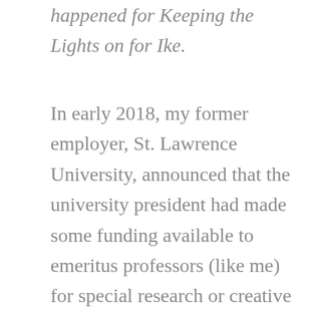happened for Keeping the Lights on for Ike.
In early 2018, my former employer, St. Lawrence University, announced that the university president had made some funding available to emeritus professors (like me) for special research or creative projects they were still occupied with after their retirement from teaching. They encouraged me to think about how a small grant might support what I was currently working on, and I did not hesitate. I wanted to hire a consultant for